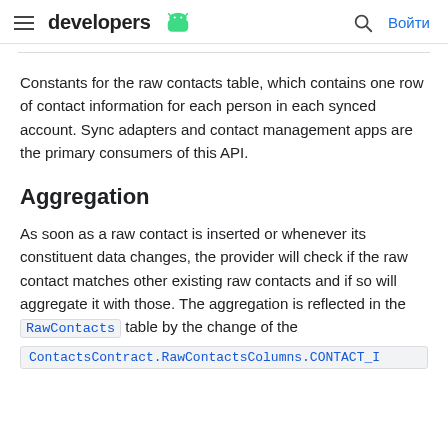developers [android logo] | [search icon] Войти
Constants for the raw contacts table, which contains one row of contact information for each person in each synced account. Sync adapters and contact management apps are the primary consumers of this API.
Aggregation
As soon as a raw contact is inserted or whenever its constituent data changes, the provider will check if the raw contact matches other existing raw contacts and if so will aggregate it with those. The aggregation is reflected in the RawContacts table by the change of the ContactsContract.RawContactsColumns.CONTACT_I